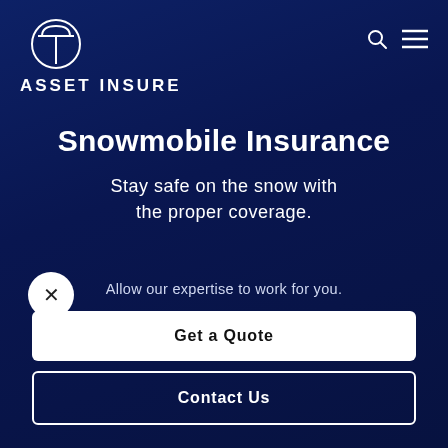[Figure (logo): Asset Insure logo: circular icon with T-bar symbol above the text ASSET INSURE]
Snowmobile Insurance
Stay safe on the snow with the proper coverage.
Allow our expertise to work for you.
Get a Quote
Contact Us